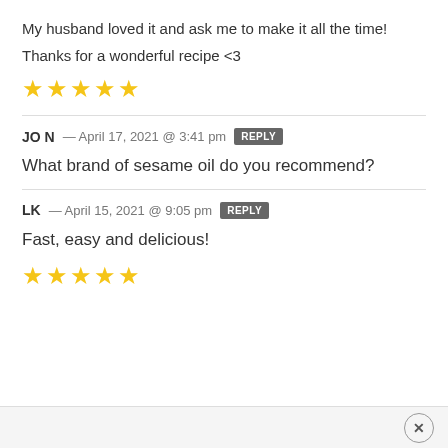My husband loved it and ask me to make it all the time!
Thanks for a wonderful recipe <3
[Figure (other): 5 gold star rating icons]
JON — April 17, 2021 @ 3:41 pm   REPLY
What brand of sesame oil do you recommend?
LK — April 15, 2021 @ 9:05 pm   REPLY
Fast, easy and delicious!
[Figure (other): 5 gold star rating icons]